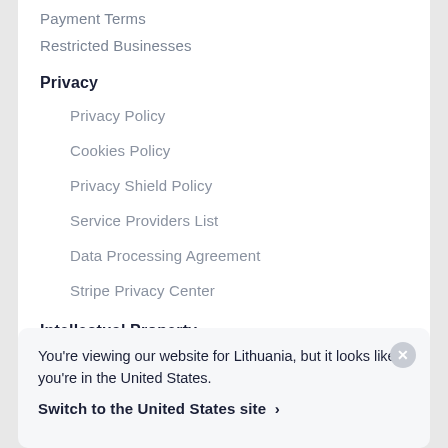Payment Terms
Restricted Businesses
Privacy
Privacy Policy
Cookies Policy
Privacy Shield Policy
Service Providers List
Data Processing Agreement
Stripe Privacy Center
Intellectual Property
Intellectual Property Notice
Marks Usage
You're viewing our website for Lithuania, but it looks like you're in the United States.
Switch to the United States site ›